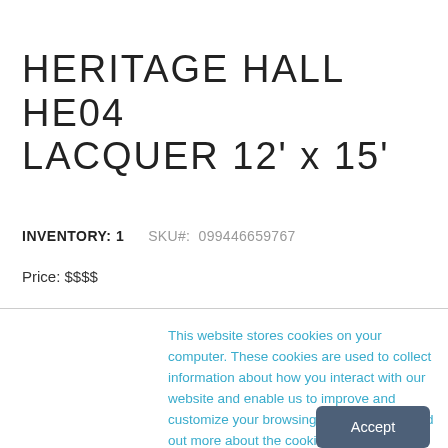HERITAGE HALL HE04 LACQUER 12' x 15'
INVENTORY: 1    SKU#:  099446659767
Price: $$$$
This website stores cookies on your computer. These cookies are used to collect information about how you interact with our website and enable us to improve and customize your browsing experience. To find out more about the cookies we use, see our Privacy Policy.
Accept